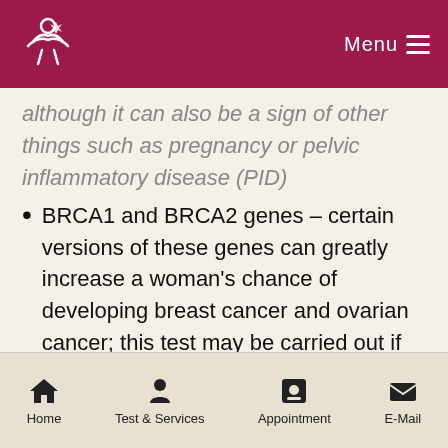Menu
although it can also be a sign of other things such as pregnancy or pelvic inflammatory disease (PID)
BRCA1 and BRCA2 genes – certain versions of these genes can greatly increase a woman's chance of developing breast cancer and ovarian cancer; this test may be carried out if these types of cancer run in your family
Home | Test & Services | Appointment | E-Mail